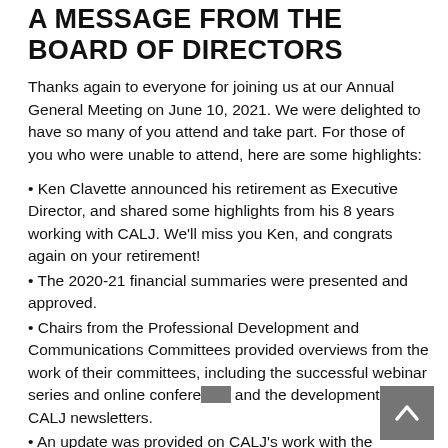A MESSAGE FROM THE BOARD OF DIRECTORS
Thanks again to everyone for joining us at our Annual General Meeting on June 10, 2021. We were delighted to have so many of you attend and take part. For those of you who were unable to attend, here are some highlights:
Ken Clavette announced his retirement as Executive Director, and shared some highlights from his 8 years working with CALJ. We'll miss you Ken, and congrats again on your retirement!
The 2020-21 financial summaries were presented and approved.
Chairs from the Professional Development and Communications Committees provided overviews from the work of their committees, including the successful webinar series and online conference, and the development of CALJ newsletters.
An update was provided on CALJ's work with the